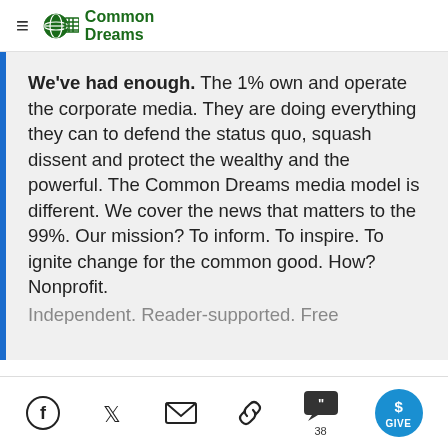Common Dreams
We've had enough. The 1% own and operate the corporate media. They are doing everything they can to defend the status quo, squash dissent and protect the wealthy and the powerful. The Common Dreams media model is different. We cover the news that matters to the 99%. Our mission? To inform. To inspire. To ignite change for the common good. How? Nonprofit. Independent. Reader-supported. Free
Facebook, Twitter, Email, Link, Comments 38, GIVE